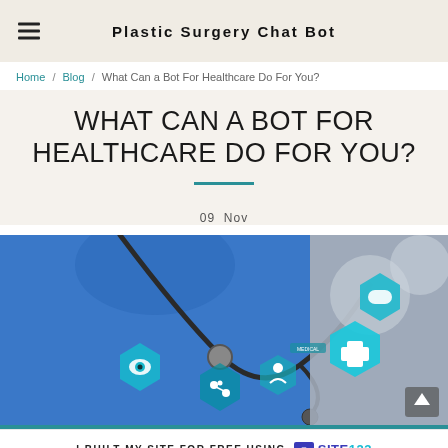Plastic Surgery Chat Bot
Home / Blog / What Can a Bot For Healthcare Do For You?
WHAT CAN A BOT FOR HEALTHCARE DO FOR YOU?
09 Nov
[Figure (photo): Doctor in blue scrubs with stethoscope overlaid with digital medical icons including eye, cross, pill, and other healthcare symbols on a teal/blue hexagonal UI overlay]
I BUILT MY SITE FOR FREE USING SITE123